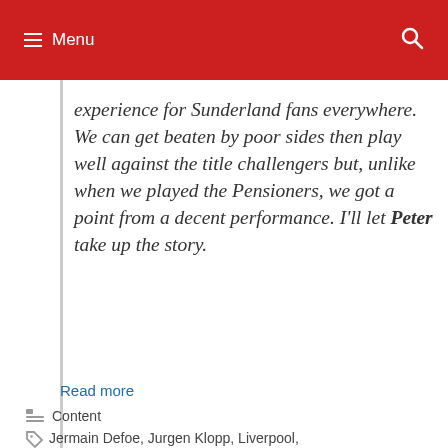Menu
experience for Sunderland fans everywhere. We can get beaten by poor sides then play well against the title challengers but, unlike when we played the Pensioners, we got a point from a decent performance. I'll let Peter take up the story.
Read more
Content
Jermain Defoe, Jurgen Klopp, Liverpool,